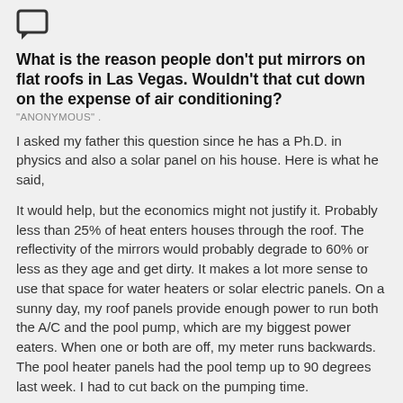[Figure (illustration): Chat/comment speech bubble icon]
What is the reason people don't put mirrors on flat roofs in Las Vegas. Wouldn't that cut down on the expense of air conditioning?
"ANONYMOUS" .
I asked my father this question since he has a Ph.D. in physics and also a solar panel on his house. Here is what he said,
It would help, but the economics might not justify it. Probably less than 25% of heat enters houses through the roof. The reflectivity of the mirrors would probably degrade to 60% or less as they age and get dirty. It makes a lot more sense to use that space for water heaters or solar electric panels. On a sunny day, my roof panels provide enough power to run both the A/C and the pool pump, which are my biggest power eaters. When one or both are off, my meter runs backwards. The pool heater panels had the pool temp up to 90 degrees last week. I had to cut back on the pumping time.